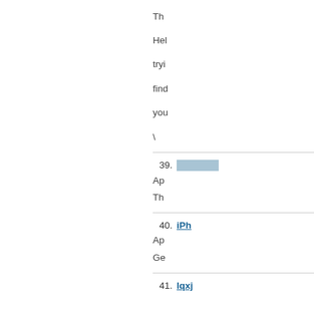The... Hel... tryi... find... you... \
39. [redacted link] Apr... The...
40. iPhone... Apr... Ge...
41. lqxj...